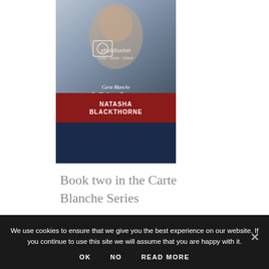[Figure (photo): Book cover of 'White Lace & Promises' by Natasha Blackthorne, part of the Carte Blanche series. Shows a romantic couple embracing, with a photobucket.com watermark overlaid. Title in italic serif font on dark blue background, author name on red band.]
Book two in the Carte Blanche Series
We use cookies to ensure that we give you the best experience on our website. If you continue to use this site we will assume that you are happy with it.
OK   NO   READ MORE